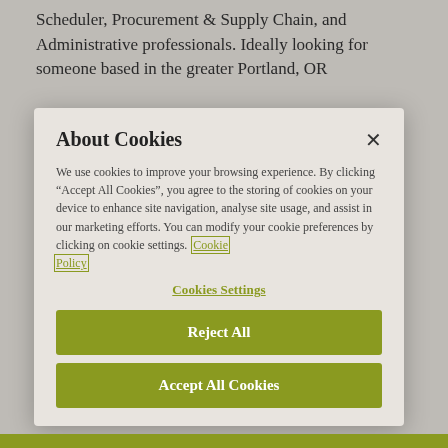Scheduler, Procurement & Supply Chain, and Administrative professionals. Ideally looking for someone based in the greater Portland, OR...
About Cookies
We use cookies to improve your browsing experience. By clicking "Accept All Cookies", you agree to the storing of cookies on your device to enhance site navigation, analyse site usage, and assist in our marketing efforts. You can modify your cookie preferences by clicking on cookie settings. Cookie Policy
Cookies Settings
Reject All
Accept All Cookies